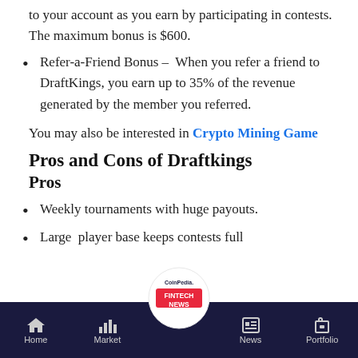to your account as you earn by participating in contests. The maximum bonus is $600.
Refer-a-Friend Bonus – When you refer a friend to DraftKings, you earn up to 35% of the revenue generated by the member you referred.
You may also be interested in Crypto Mining Game
Pros and Cons of Draftkings
Pros
Weekly tournaments with huge payouts.
Large  player base keeps contests full
Home | Market | CoinPedia FINTECH NEWS | News | Portfolio